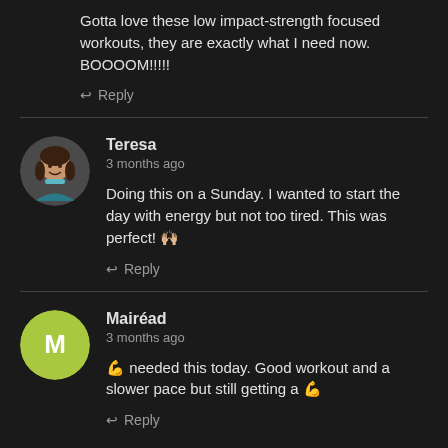Gotta love these low impact-strength focused workouts, they are exactly what I need now. BOOOOM!!!!!
Reply
Teresa
3 months ago
Doing this on a Sunday. I wanted to start the day with energy but not too tired. This was perfect! 🙌🏼
Reply
Mairéad
3 months ago
💪 needed this today. Good workout and a slower pace but still getting a 💪
Reply